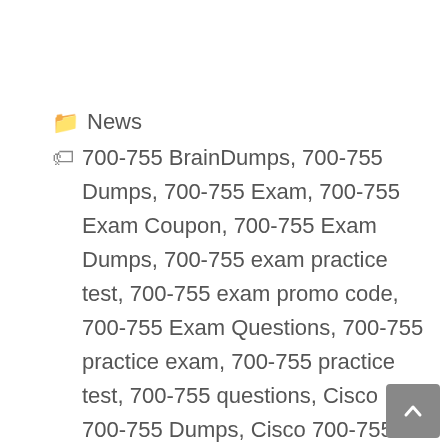📁 News
🏷 700-755 BrainDumps, 700-755 Dumps, 700-755 Exam, 700-755 Exam Coupon, 700-755 Exam Dumps, 700-755 exam practice test, 700-755 exam promo code, 700-755 Exam Questions, 700-755 practice exam, 700-755 practice test, 700-755 questions, Cisco 700-755 Dumps, Cisco 700-755 Exam, Cisco 700-755 exam Questions, Cisco 700-755 Practice Test
< 300-430 ENWLSI Exam Questions – (#BlackFriday) Cisco 300-430 Dumps PDF
> 156-585 Exam Questions – (#BlackFriday) CheckPoint 156-585 Dumps PDF